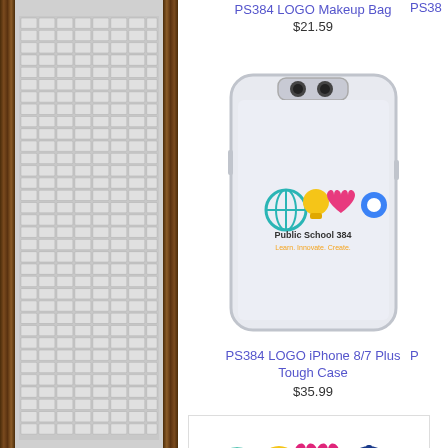[Figure (photo): Left panel showing a textured gray/white grid pattern with dark wood borders on left and right sides]
PS384 LOGO Makeup Bag
$21.59
PS384
[Figure (photo): iPhone 8/7 Plus Tough Case in white/light blue with Public School 384 logo on back]
PS384 LOGO iPhone 8/7 Plus Tough Case
$35.99
[Figure (logo): Public School 384 logo: globe, lightbulb, heart, gear icons with text 'Public School 384 Learn. Innovate. Create.']